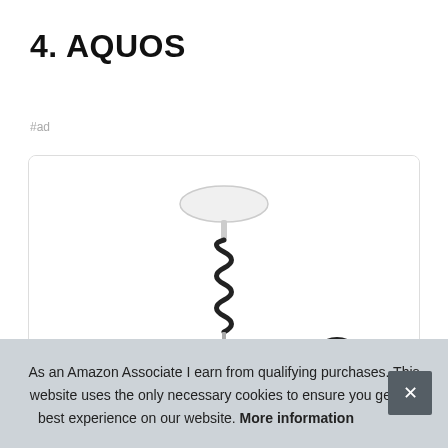4. AQUOS
#ad
[Figure (photo): Product photo of an AQUOS antenna or device on a stand with a coiled cable, shown against a white background inside a card with rounded border. A black circular wheel/device is partially visible at lower right.]
As an Amazon Associate I earn from qualifying purchases. This website uses the only necessary cookies to ensure you get the best experience on our website. More information